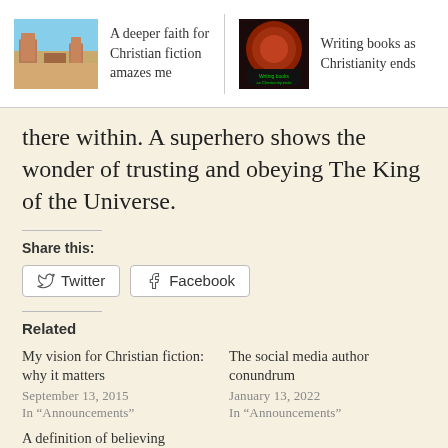A deeper faith for Christian fiction amazes me | Writing books as Christianity ends
there within. A superhero shows the wonder of trusting and obeying The King of the Universe.
Share this:
Twitter   Facebook
Related
My vision for Christian fiction: why it matters
September 13, 2015
In “Announcements”
The social media author conundrum
January 13, 2022
In “Announcements”
A definition of believing superheroes for fiction
January 29, 2022